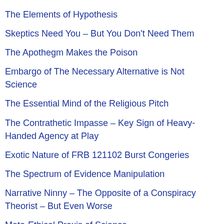The Elements of Hypothesis
Skeptics Need You – But You Don't Need Them
The Apothegm Makes the Poison
Embargo of The Necessary Alternative is Not Science
The Essential Mind of the Religious Pitch
The Contrathetic Impasse – Key Sign of Heavy-Handed Agency at Play
Exotic Nature of FRB 121102 Burst Congeries
The Spectrum of Evidence Manipulation
Narrative Ninny – The Opposite of a Conspiracy Theorist – But Even Worse
Meta-Ethical Praxis of Science
Reduction: A Bias for Understanding
The Fermi Paradox is Babysitting Rubbish
Ten Common Misconceptions [flags] ...